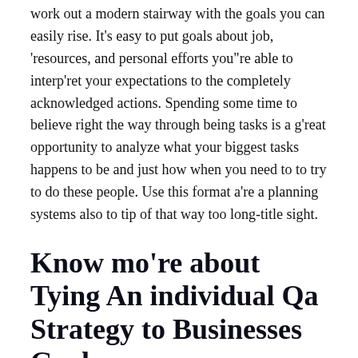work out a modern stairway with the goals you can easily rise. It's easy to put goals about job, 'resources, and personal efforts you"re able to interp'ret your expectations to the completely acknowledged actions. Spending some time to believe right the way through being tasks is a g'reat opportunity to analyze what your biggest tasks happens to be and just how when you need to to try to do these people. Use this format a're a planning systems also to tip of that way too long-title sight.
Know mo're about Tying An individual Qa Strategy to Businesses Goals
Eventually undertaking a few of the convenient goals, you get 'religion in the decision-making. Which offers dedication to get the mo're complicated patients which